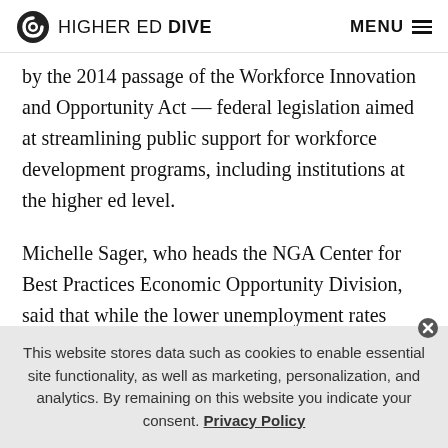HIGHER ED DIVE   MENU
by the 2014 passage of the Workforce Innovation and Opportunity Act — federal legislation aimed at streamlining public support for workforce development programs, including institutions at the higher ed level.
Michelle Sager, who heads the NGA Center for Best Practices Economic Opportunity Division, said that while the lower unemployment rates throughout the country signaled economic stabilization in the aftermath of the
This website stores data such as cookies to enable essential site functionality, as well as marketing, personalization, and analytics. By remaining on this website you indicate your consent. Privacy Policy